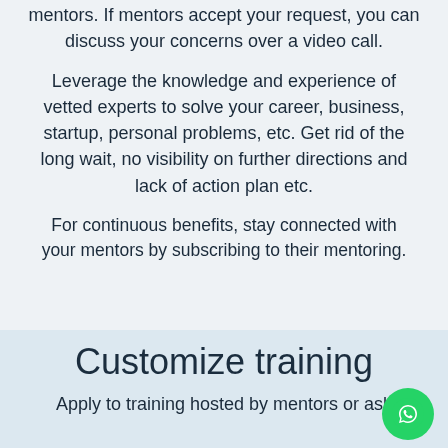mentors. If mentors accept your request, you can discuss your concerns over a video call.
Leverage the knowledge and experience of vetted experts to solve your career, business, startup, personal problems, etc. Get rid of the long wait, no visibility on further directions and lack of action plan etc.
For continuous benefits, stay connected with your mentors by subscribing to their mentoring.
Customize training
Apply to training hosted by mentors or ask